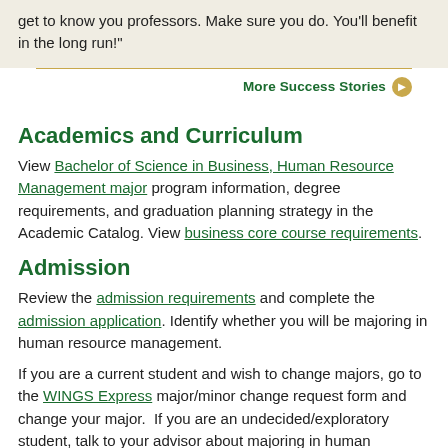get to know you professors. Make sure you do. You'll benefit in the long run!"
More Success Stories
Academics and Curriculum
View Bachelor of Science in Business, Human Resource Management major program information, degree requirements, and graduation planning strategy in the Academic Catalog. View business core course requirements.
Admission
Review the admission requirements and complete the admission application. Identify whether you will be majoring in human resource management.
If you are a current student and wish to change majors, go to the WINGS Express major/minor change request form and change your major.  If you are an undecided/exploratory student, talk to your advisor about majoring in human resource management.